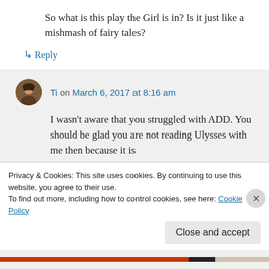So what is this play the Girl is in? Is it just like a mishmash of fairy tales?
↳ Reply
Ti on March 6, 2017 at 8:16 am
I wasn't aware that you struggled with ADD. You should be glad you are not reading Ulysses with me then because it is
Privacy & Cookies: This site uses cookies. By continuing to use this website, you agree to their use.
To find out more, including how to control cookies, see here: Cookie Policy
Close and accept